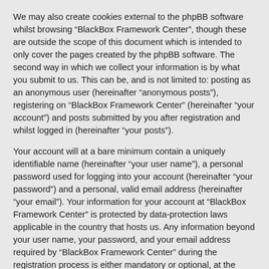We may also create cookies external to the phpBB software whilst browsing “BlackBox Framework Center”, though these are outside the scope of this document which is intended to only cover the pages created by the phpBB software. The second way in which we collect your information is by what you submit to us. This can be, and is not limited to: posting as an anonymous user (hereinafter “anonymous posts”), registering on “BlackBox Framework Center” (hereinafter “your account”) and posts submitted by you after registration and whilst logged in (hereinafter “your posts”).
Your account will at a bare minimum contain a uniquely identifiable name (hereinafter “your user name”), a personal password used for logging into your account (hereinafter “your password”) and a personal, valid email address (hereinafter “your email”). Your information for your account at “BlackBox Framework Center” is protected by data-protection laws applicable in the country that hosts us. Any information beyond your user name, your password, and your email address required by “BlackBox Framework Center” during the registration process is either mandatory or optional, at the discretion of “BlackBox Framework Center”. In all cases, you have the option of what information in your account is publicly displayed. Furthermore, within your account, you have the option to opt-in or opt-out of automatically generated emails from the phpBB software.
Your password is ciphered (a one-way hash) so that it is secure. However, it is recommended that you do not reuse the same password across a number of different websites. Your password is the means of accessing your account at “BlackBox Framework Center”, so please guard it carefully and under no